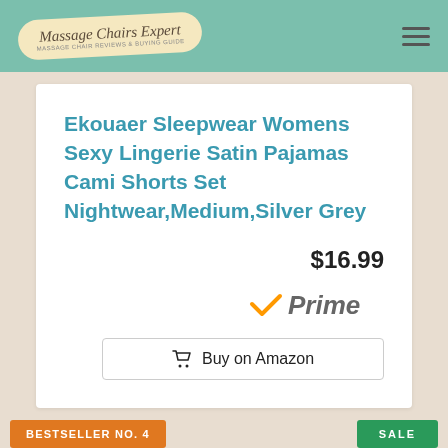Massage Chairs Expert
Ekouaer Sleepwear Womens Sexy Lingerie Satin Pajamas Cami Shorts Set Nightwear,Medium,Silver Grey
$16.99
[Figure (logo): Amazon Prime logo with orange checkmark and italic Prime text]
Buy on Amazon
BESTSELLER NO. 4
SALE